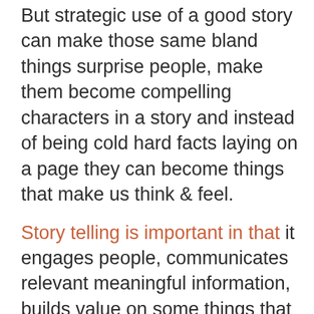But strategic use of a good story can make those same bland things surprise people, make them become compelling characters in a story and instead of being cold hard facts laying on a page they can become things that make us think & feel.
Story telling is important in that it engages people, communicates relevant meaningful information, builds value on some things that can often be difficult to build value on and, ultimately, it makes you, your product or service & your company distinct.